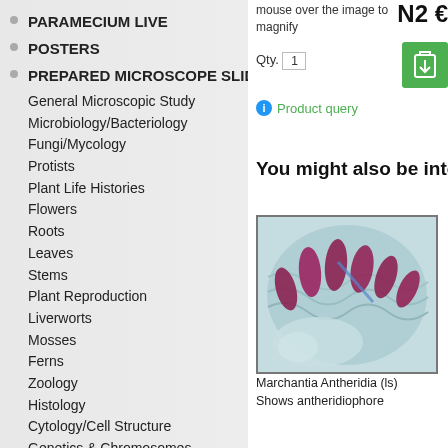PARAMECIUM LIVE
POSTERS
PREPARED MICROSCOPE SLIDES
General Microscopic Study
Microbiology/Bacteriology
Fungi/Mycology
Protists
Plant Life Histories
Flowers
Roots
Leaves
Stems
Plant Reproduction
Liverworts
Mosses
Ferns
Zoology
Histology
Cytology/Cell Structure
Genetics & Chromosomes
Meiosis & Mitosis
mouse over the image to magnify
N2 €
Qty. 1
Product query
You might also be inter
[Figure (photo): Microscope slide image showing Marchantia Antheridia cross-section with purple/red oval structures on light blue background]
Marchantia Antheridia (ls) Shows antheridiophore